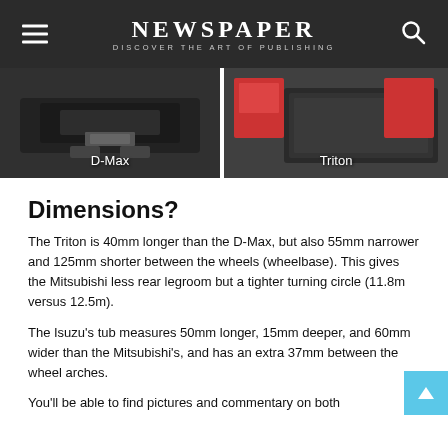NEWSPAPER — DISCOVER THE ART OF PUBLISHING
[Figure (photo): Two pickup truck tub/bed images side by side. Left image shows rear of D-Max truck, right image shows bed of Triton truck.]
Dimensions?
The Triton is 40mm longer than the D-Max, but also 55mm narrower and 125mm shorter between the wheels (wheelbase). This gives the Mitsubishi less rear legroom but a tighter turning circle (11.8m versus 12.5m).
The Isuzu's tub measures 50mm longer, 15mm deeper, and 60mm wider than the Mitsubishi's, and has an extra 37mm between the wheel arches.
You'll be able to find pictures and commentary on both